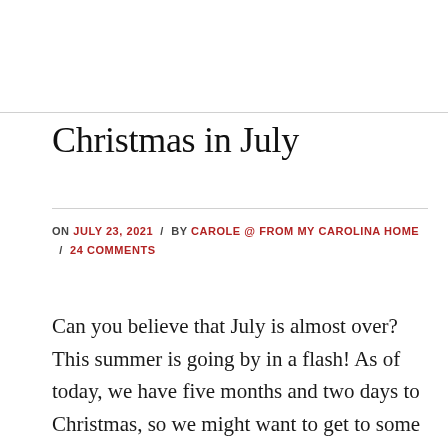Christmas in July
ON JULY 23, 2021 / BY CAROLE @ FROM MY CAROLINA HOME / 24 COMMENTS
Can you believe that July is almost over? This summer is going by in a flash! As of today, we have five months and two days to Christmas, so we might want to get to some projects now to finish with time to relax and enjoy the holiday season. With that in mind, I have …